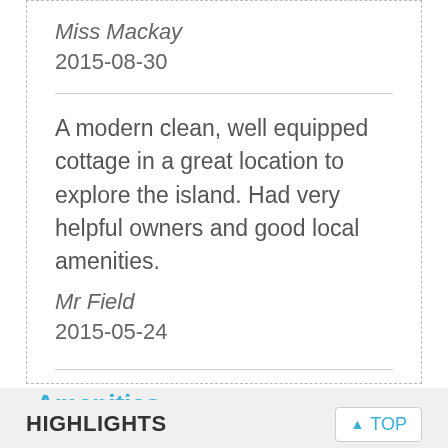Miss Mackay
2015-08-30
A modern clean, well equipped cottage in a great location to explore the island. Had very helpful owners and good local amenities.
Mr Field
2015-05-24
Amenities:
HIGHLIGHTS